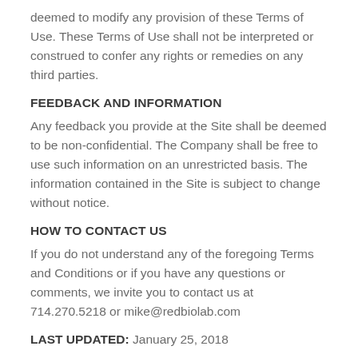deemed to modify any provision of these Terms of Use. These Terms of Use shall not be interpreted or construed to confer any rights or remedies on any third parties.
FEEDBACK AND INFORMATION
Any feedback you provide at the Site shall be deemed to be non-confidential. The Company shall be free to use such information on an unrestricted basis. The information contained in the Site is subject to change without notice.
HOW TO CONTACT US
If you do not understand any of the foregoing Terms and Conditions or if you have any questions or comments, we invite you to contact us at 714.270.5218 or mike@redbiolab.com
LAST UPDATED: January 25, 2018